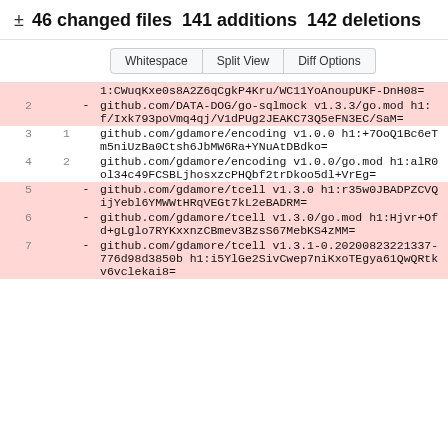± 46 changed files  141 additions  142 deletions
Whitespace | Split View | Diff Options
| old | new | op | content |
| --- | --- | --- | --- |
|  |  |  | 1:CWuqKxe0s8A2Z6qCgkP4Kru/WC11YoAnoupUKF-DnH08= |
| 2 |  | - | github.com/DATA-DOG/go-sqlmock v1.3.3/go.mod h1:f/Ixk793poVmq4qj/V1dPUg2JEAKC73Q5eFN3EC/SaM= |
| 3 | 1 |  | github.com/gdamore/encoding v1.0.0 h1:+7OoQ1Bc6eTm5niUzBa0Ctsh6JbMW6Ra+YNuAtDBdko= |
| 4 | 2 |  | github.com/gdamore/encoding v1.0.0/go.mod h1:alR0ol34c49FCSBLjhosxzcPHQbf2trDkoo5dl+VrEg= |
| 5 |  | - | github.com/gdamore/tcell v1.3.0 h1:r35w0JBADPZCVQijYebl6YMWWtHRqVEGt7kL2eBADRM= |
| 6 |  | - | github.com/gdamore/tcell v1.3.0/go.mod h1:Hjvr+Ofd+gLglo7RYKxxnzCBmev3BzsS67MebKS4zMM= |
| 7 |  | - | github.com/gdamore/tcell v1.3.1-0.20200823221337-776d98d3850b h1:i5YlGe2SivCwep7niKxoTEgya61QwQRtkv6vclekai8= |